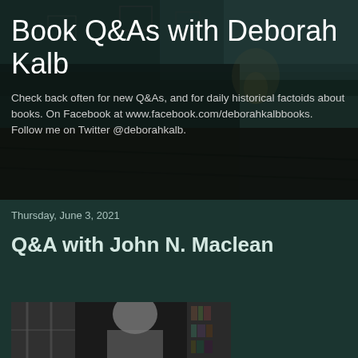[Figure (photo): Dark moody interior room background with old furniture, paintings on walls, lamp, and wooden floor — used as blog header background image]
Book Q&As with Deborah Kalb
Check back often for new Q&As, and for daily historical factoids about books. On Facebook at www.facebook.com/deborahkalbbooks. Follow me on Twitter @deborahkalb.
Thursday, June 3, 2021
Q&A with John N. Maclean
[Figure (photo): Black and white photograph of a person (John N. Maclean), partially visible at the bottom of the page, near a window with bookshelves in the background]